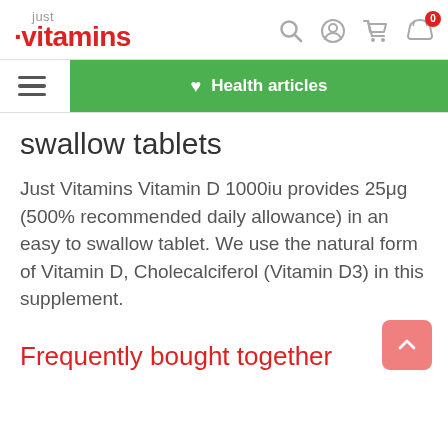just vitamins
swallow tablets
Just Vitamins Vitamin D 1000iu provides 25μg (500% recommended daily allowance) in an easy to swallow tablet. We use the natural form of Vitamin D, Cholecalciferol (Vitamin D3) in this supplement.
Frequently bought together